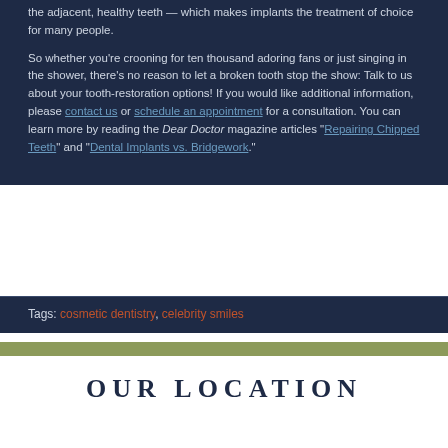the adjacent, healthy teeth — which makes implants the treatment of choice for many people.
So whether you're crooning for ten thousand adoring fans or just singing in the shower, there's no reason to let a broken tooth stop the show: Talk to us about your tooth-restoration options! If you would like additional information, please contact us or schedule an appointment for a consultation. You can learn more by reading the Dear Doctor magazine articles "Repairing Chipped Teeth" and "Dental Implants vs. Bridgework".
Tags: cosmetic dentistry, celebrity smiles
OUR LOCATION